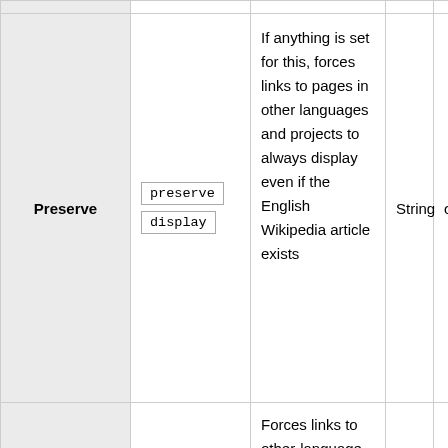|  |  | Description | Type |  |
| --- | --- | --- | --- | --- |
| Preserve | preserve
display | If anything is set for this, forces links to pages in other languages and projects to always display even if the English Wikipedia article exists | String | opt |
|  |  | Forces links to other-language pages, |  |  |